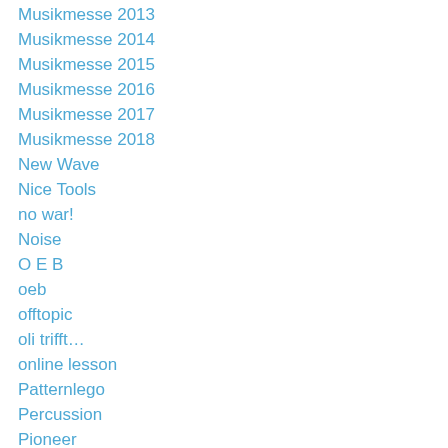Musikmesse 2013
Musikmesse 2014
Musikmesse 2015
Musikmesse 2016
Musikmesse 2017
Musikmesse 2018
New Wave
Nice Tools
no war!
Noise
O E B
oeb
offtopic
oli trifft…
online lesson
Patternlego
Percussion
Pioneer
Play Along
Plugin